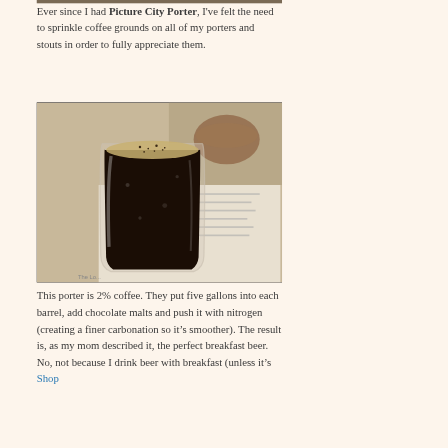[Figure (photo): A dark porter beer in a clear plastic cup on a table with a menu, with coffee grounds visible on top, another glass in the background]
Ever since I had Picture City Porter, I've felt the need to sprinkle coffee grounds on all of my porters and stouts in order to fully appreciate them.
This porter is 2% coffee. They put five gallons into each barrel, add chocolate malts and push it with nitrogen (creating a finer carbonation so it's smoother). The result is, as my mom described it, the perfect breakfast beer. No, not because I drink beer with breakfast (unless it's Shop